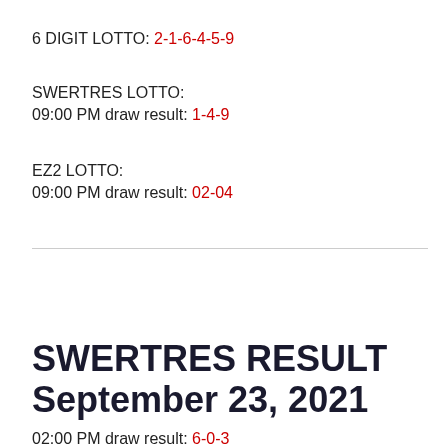6 DIGIT LOTTO: 2-1-6-4-5-9
SWERTRES LOTTO:
09:00 PM draw result: 1-4-9
EZ2 LOTTO:
09:00 PM draw result: 02-04
SWERTRES RESULT
September 23, 2021
02:00 PM draw result: 6-0-3